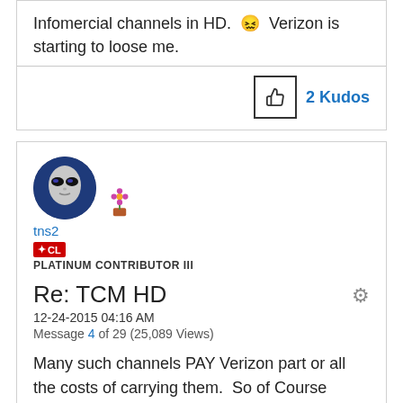Infomercial channels in HD. 😖 Verizon is starting to loose me.
2 Kudos
[Figure (illustration): User avatar: alien face icon with blue background]
[Figure (illustration): Flower/plant emoji icon]
tns2
CL - PLATINUM CONTRIBUTOR III
Re: TCM HD
12-24-2015 04:16 AM
Message 4 of 29 (25,089 Views)
Many such channels PAY Verizon part or all the costs of carrying them.  So of Course Verizon is willing to carry them.